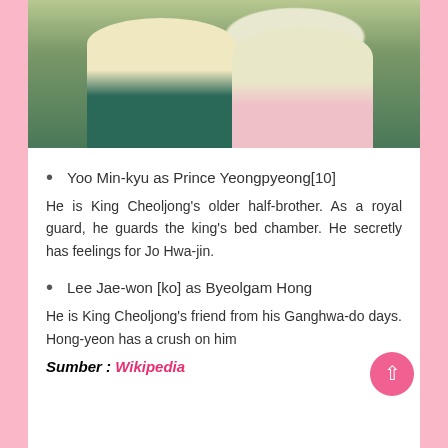[Figure (photo): Two women wearing traditional Korean hanbok clothing standing outdoors, one in cream/teal hanbok with pink sash, the other in cream/pink hanbok]
Yoo Min-kyu as Prince Yeongpyeong[10]
He is King Cheoljong's older half-brother. As a royal guard, he guards the king's bed chamber. He secretly has feelings for Jo Hwa-jin.
Lee Jae-won [ko] as Byeolgam Hong
He is King Cheoljong's friend from his Ganghwa-do days. Hong-yeon has a crush on him
Sumber : Wikipedia